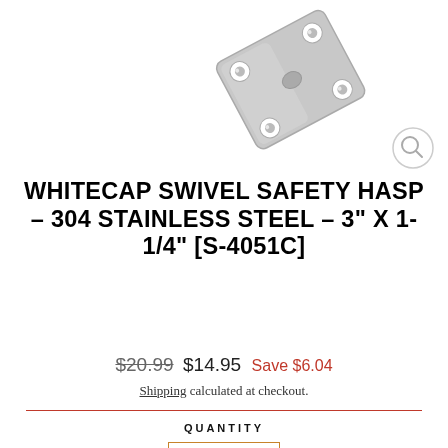[Figure (photo): Product photo of a stainless steel swivel safety hasp hardware piece, showing a metal plate with mounting holes, tilted at an angle on a white background. A small magnifying glass zoom icon is visible in the upper-right area of the image zone.]
WHITECAP SWIVEL SAFETY HASP – 304 STAINLESS STEEL – 3" X 1-1/4" [S-4051C]
$20.99  $14.95  Save $6.04
Shipping calculated at checkout.
QUANTITY
− 1 +